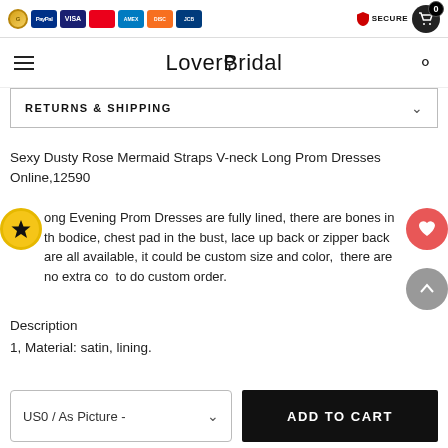LoverBridal - payment icons, secure badge, cart
RETURNS & SHIPPING
Sexy Dusty Rose Mermaid Straps V-neck Long Prom Dresses Online,12590
Long Evening Prom Dresses are fully lined, there are bones in the bodice, chest pad in the bust, lace up back or zipper back are all available, it could be custom size and color, there are no extra cost to do custom order.
Description
1, Material: satin, lining.